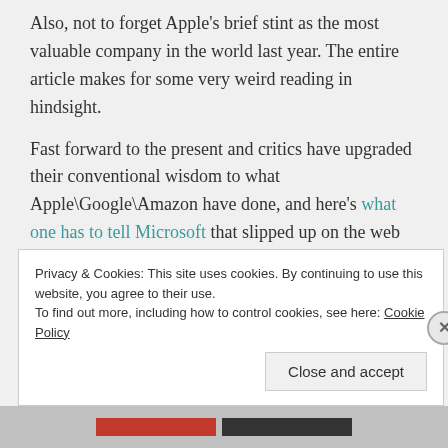Also, not to forget Apple's brief stint as the most valuable company in the world last year. The entire article makes for some very weird reading in hindsight.
Fast forward to the present and critics have upgraded their conventional wisdom to what Apple\Google\Amazon have done, and here's what one has to tell Microsoft that slipped up on the web and mobile revolution:
Ballmer oversaw a decade of missed opportunities,
Privacy & Cookies: This site uses cookies. By continuing to use this website, you agree to their use.
To find out more, including how to control cookies, see here: Cookie Policy
Close and accept